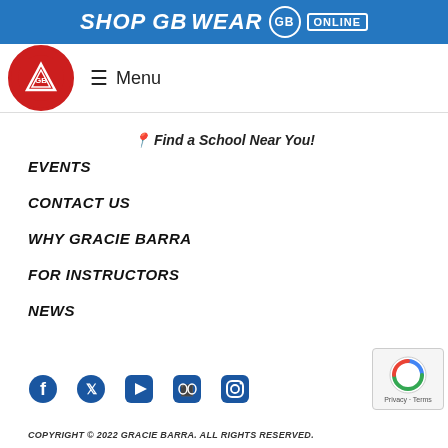SHOP GB WEAR GB ONLINE
[Figure (logo): Gracie Barra circular red logo with white triangle/GB symbol]
≡ Menu
📍 Find a School Near You!
EVENTS
CONTACT US
WHY GRACIE BARRA
FOR INSTRUCTORS
NEWS
[Figure (other): Social media icons: Facebook, Twitter, YouTube, Flickr, Instagram]
COPYRIGHT © 2022 GRACIE BARRA. ALL RIGHTS RESERVED.